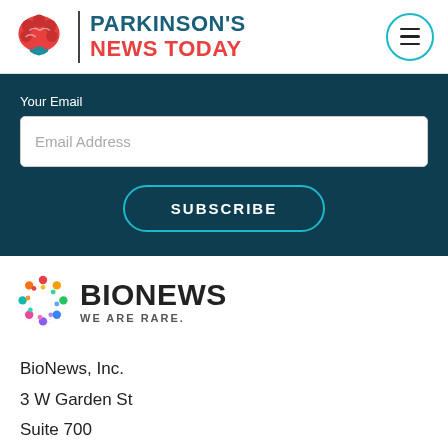[Figure (logo): Parkinson's News Today logo with red brain icon, vertical divider, and site name in teal and red]
Your Email
Email Address
SUBSCRIBE
[Figure (logo): BioNews logo with colorful circular icon and text WE ARE RARE.]
BioNews, Inc.
3 W Garden St
Suite 700
Pensacola, FL 32502